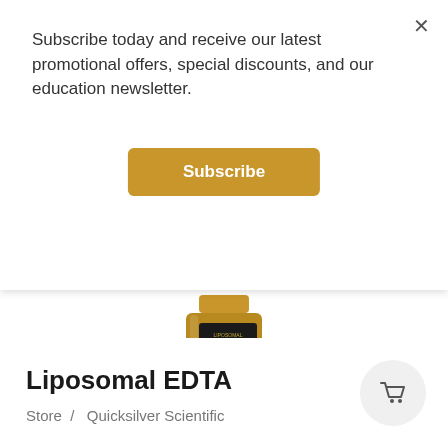Subscribe today and receive our latest promotional offers, special discounts, and our education newsletter.
Subscribe
[Figure (photo): Amber glass bottle of Liposomal EDTA dietary supplement with gold and black label featuring palm leaf design and Quicksilver Scientific branding]
Liposomal EDTA
Store  /  Quicksilver Scientific